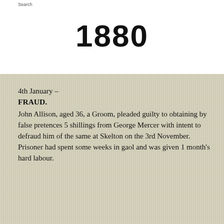Search
1880
4th January –
FRAUD.
John Allison, aged 36, a Groom, pleaded guilty to obtaining by false pretences 5 shillings from George Mercer with intent to defraud him of the same at Skelton on the 3rd November.
Prisoner had spent some weeks in gaol and was given 1 month's hard labour.
6th January –
RIGHT OF WAY DISPUTE